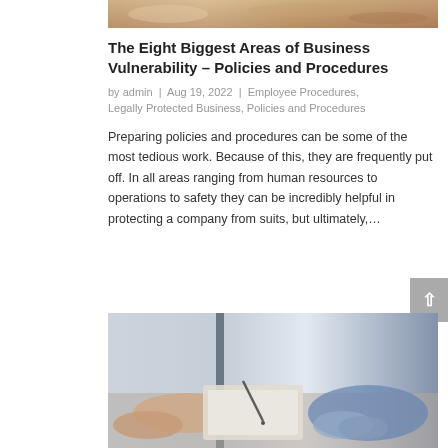[Figure (photo): Top partial photo showing hands and papers, warm tones]
The Eight Biggest Areas of Business Vulnerability – Policies and Procedures
by admin | Aug 19, 2022 | Employee Procedures, Legally Protected Business, Policies and Procedures
Preparing policies and procedures can be some of the most tedious work. Because of this, they are frequently put off. In all areas ranging from human resources to operations to safety they can be incredibly helpful in protecting a company from suits, but ultimately,…
[Figure (photo): Bottom photo showing two people exchanging or reviewing documents at a desk, office setting]